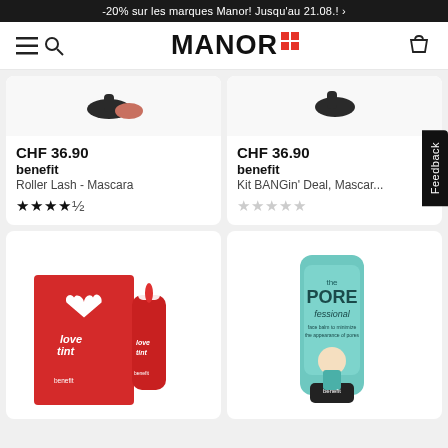-20% sur les marques Manor! Jusqu'au 21.08.! ›
[Figure (logo): Manor logo with red grid squares and navigation icons]
CHF 36.90
benefit
Roller Lash - Mascara
★★★★½
CHF 36.90
benefit
Kit BANGin' Deal, Mascar...
☆☆☆☆☆
[Figure (photo): Benefit Love Tint lip and cheek stain product with red box and bottle]
[Figure (photo): Benefit The POREfessional primer tube in teal/mint color]